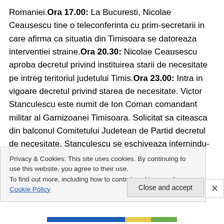Romaniei. Ora 17.00: La Bucuresti, Nicolae Ceausescu tine o teleconferinta cu prim-secretarii in care afirma ca situatia din Timisoara se datoreaza interventiei straine. Ora 20.30: Nicolae Ceausescu aproba decretul privind instituirea starii de necesitate pe intreg teritoriul judetului Timis. Ora 23.00: Intra in vigoare decretul privind starea de necesitate. Victor Stanculescu este numit de Ion Coman comandant militar al Garnizoanei Timisoara. Solicitat sa citeasca din balconul Comitetului Judetean de Partid decretul de necesitate, Stanculescu se eschiveaza internindu-se, pentru citeva ore, la spitalul din Timisoara.
Privacy & Cookies: This site uses cookies. By continuing to use this website, you agree to their use.
To find out more, including how to control cookies, see here: Cookie Policy
Close and accept